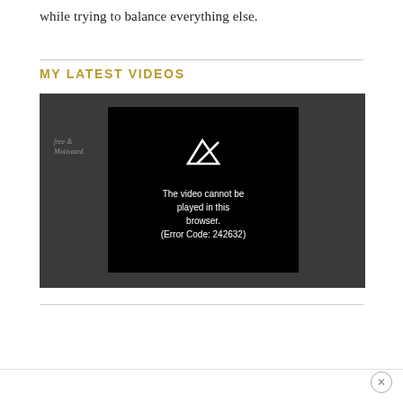while trying to balance everything else.
MY LATEST VIDEOS
[Figure (screenshot): Video player showing error message: 'The video cannot be played in this browser. (Error Code: 242632)' on a dark background with a play icon and a script watermark logo in the upper left.]
×